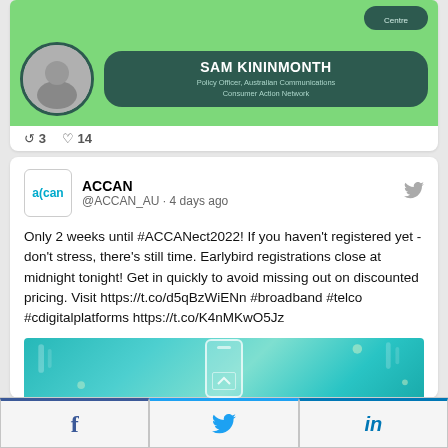[Figure (screenshot): Partial tweet card showing SAM KININMONTH, Policy Officer, Australian Communications Consumer Action Network, with circular profile photo on green background]
3  14
[Figure (screenshot): ACCAN tweet: 'Only 2 weeks until #ACCANect2022! If you haven't registered yet - don't stress, there's still time. Earlybird registrations close at midnight tonight! Get in quickly to avoid missing out on discounted pricing. Visit https://t.co/d5qBzWiENn #broadband #telco #cdigitalplatforms https://t.co/K4nMKwO5Jz' with partial event image below]
[Figure (screenshot): Social share bar with Facebook, Twitter, and LinkedIn buttons]